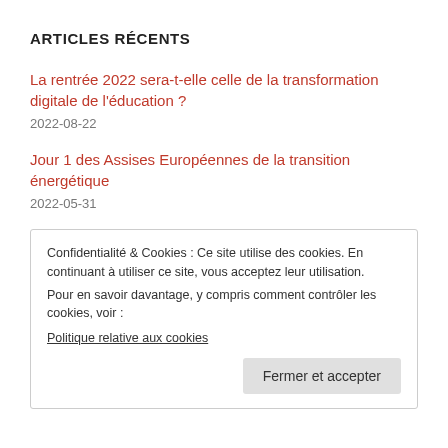ARTICLES RÉCENTS
La rentrée 2022 sera-t-elle celle de la transformation digitale de l'éducation ?
2022-08-22
Jour 1 des Assises Européennes de la transition énergétique
2022-05-31
Confidentialité & Cookies : Ce site utilise des cookies. En continuant à utiliser ce site, vous acceptez leur utilisation.
Pour en savoir davantage, y compris comment contrôler les cookies, voir :
Politique relative aux cookies
Fermer et accepter